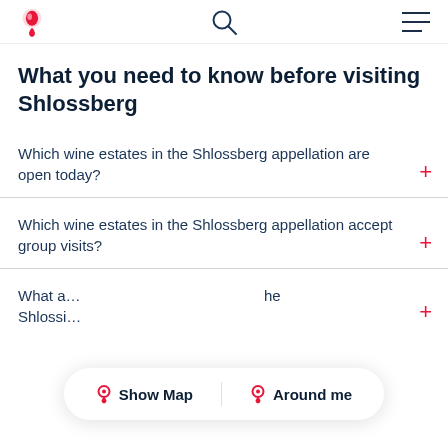Vivino logo, search icon, menu icon
What you need to know before visiting Shlossberg
Which wine estates in the Shlossberg appellation are open today?
Which wine estates in the Shlossberg appellation accept group visits?
What a… the Shlossi…
Show Map | Around me